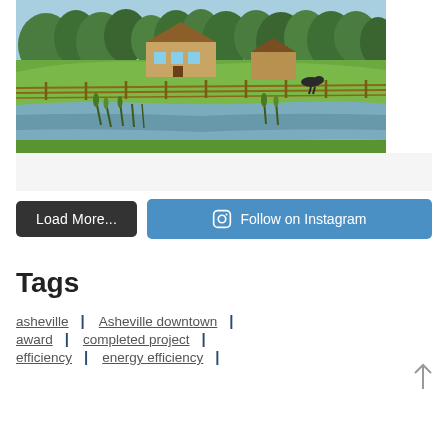[Figure (photo): Farm landscape photo showing a rural property with a house/barn, wooden fences, green pasture, and a pond with reeds in the foreground, surrounded by trees]
Load More...
Follow on Instagram
Tags
asheville | Asheville downtown |
award | completed project |
efficiency | energy efficiency |